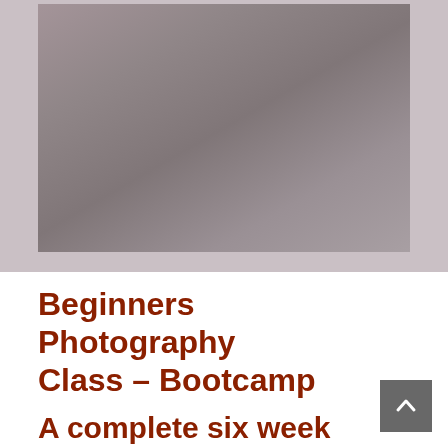[Figure (photo): Blurred/muted grey-mauve photograph, likely a photography class or camera-related image, shown as a large banner at the top of the page]
Beginners Photography Class – Bootcamp
A complete six week